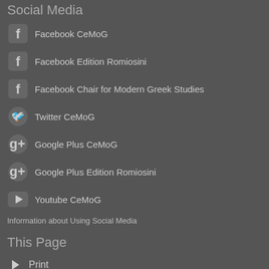Social Media
Facebook CeMoG
Facebook Edition Romiosini
Facebook Chair for Modern Greek Studies
Twitter CeMoG
Google Plus CeMoG
Google Plus Edition Romiosini
Youtube CeMoG
Information about Using Social Media
This Page
Print
Feedback
Deutsch